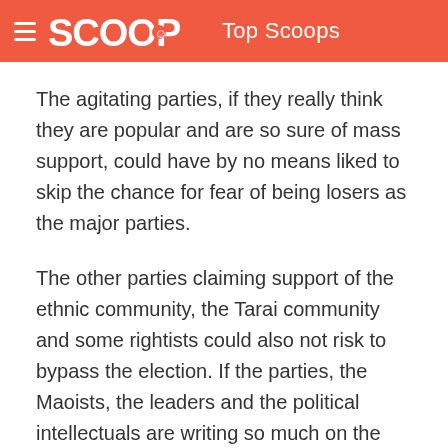SCOOP Top Scoops
The agitating parties, if they really think they are popular and are so sure of mass support, could have by no means liked to skip the chance for fear of being losers as the major parties.
The other parties claiming support of the ethnic community, the Tarai community and some rightists could also not risk to bypass the election. If the parties, the Maoists, the leaders and the political intellectuals are writing so much on the wall, why should they be afraid of facing election and in proving their worth in the democratic exercise? Why should they not face